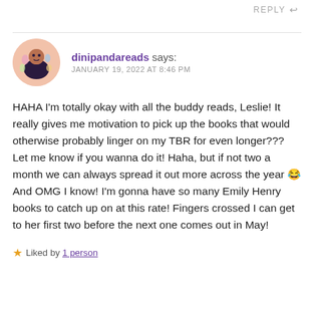REPLY
dinipandareads says:
JANUARY 19, 2022 AT 8:46 PM
HAHA I'm totally okay with all the buddy reads, Leslie! It really gives me motivation to pick up the books that would otherwise probably linger on my TBR for even longer??? Let me know if you wanna do it! Haha, but if not two a month we can always spread it out more across the year 😂 And OMG I know! I'm gonna have so many Emily Henry books to catch up on at this rate! Fingers crossed I can get to her first two before the next one comes out in May!
★ Liked by 1 person